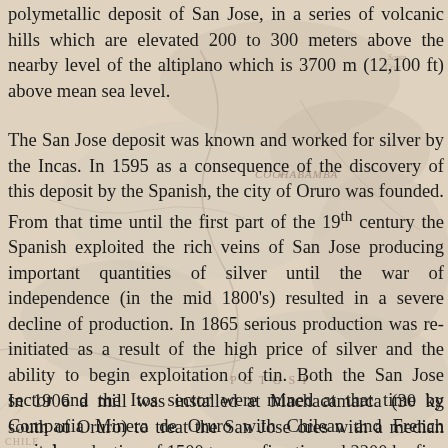[Figure (map): Background map image showing region of Bolivia including labels for Cochabamba and Potosi, with terrain features shown in muted pink/beige tones]
polymetallic deposit of San Jose, in a series of volcanic hills which are elevated 200 to 300 meters above the nearby level of the altiplano which is 3700 m (12,100 ft) above mean sea level.
The San Jose deposit was known and worked for silver by the Incas. In 1595 as a consequence of the discovery of this deposit by the Spanish, the city of Oruro was founded. From that time until the first part of the 19th century the Spanish exploited the rich veins of San Jose producing important quantities of silver until the war of independence (in the mid 1800's) resulted in a severe decline of production. In 1865 serious production was re-initiated as a result of the high price of silver and the ability to begin exploitation of tin. Both the San Jose sector and the Itos sector were mined at that time by Compania Minera de Oruro with Chilean and French capital.
In 1906 a mill was installed at Machacamarca (30 kg south of Oruro) to treat the San Jose ores with a median annual production of 1500 tonnes fine tin and 2200 kg fine silver.